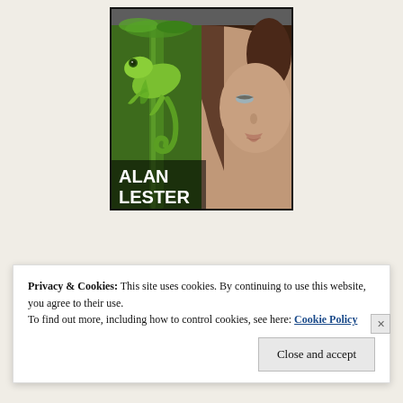[Figure (photo): Book cover showing split image: left half a green chameleon on a stem, right half a woman's face with dark hair and blue eyes. Text 'ALAN LESTER' in white bold letters at bottom left.]
Privacy & Cookies: This site uses cookies. By continuing to use this website, you agree to their use.
To find out more, including how to control cookies, see here: Cookie Policy
Close and accept